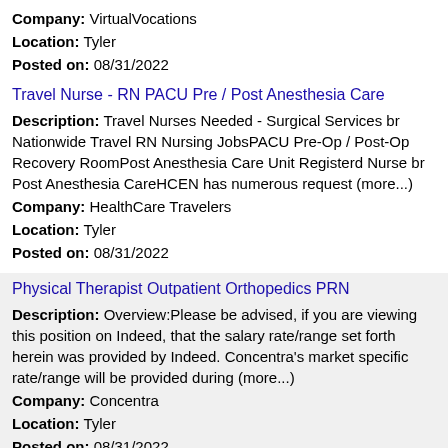Company: VirtualVocations
Location: Tyler
Posted on: 08/31/2022
Travel Nurse - RN PACU Pre / Post Anesthesia Care
Description: Travel Nurses Needed - Surgical Services br Nationwide Travel RN Nursing JobsPACU Pre-Op / Post-Op Recovery RoomPost Anesthesia Care Unit Registerd Nurse br Post Anesthesia CareHCEN has numerous request (more...)
Company: HealthCare Travelers
Location: Tyler
Posted on: 08/31/2022
Physical Therapist Outpatient Orthopedics PRN
Description: Overview:Please be advised, if you are viewing this position on Indeed, that the salary rate/range set forth herein was provided by Indeed. Concentra's market specific rate/range will be provided during (more...)
Company: Concentra
Location: Tyler
Posted on: 08/31/2022
Speech-Language Pathologist, Tyler Rehabilitation, PRN, Days